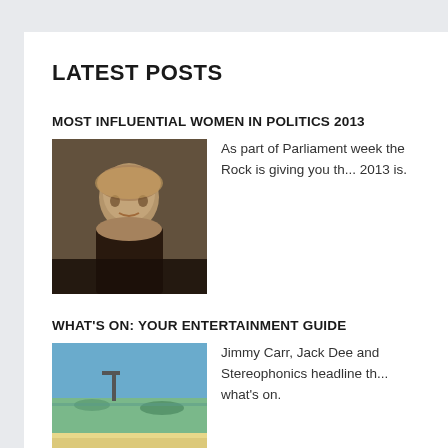LATEST POSTS
MOST INFLUENTIAL WOMEN IN POLITICS 2013
[Figure (photo): Portrait photo of a blonde woman, likely a politician]
As part of Parliament week the Rock is giving you th... 2013 is.
WHAT'S ON: YOUR ENTERTAINMENT GUIDE
[Figure (photo): Aerial/coastal photo of a beach with pier]
Jimmy Carr, Jack Dee and Stereophonics headline th... what's on.